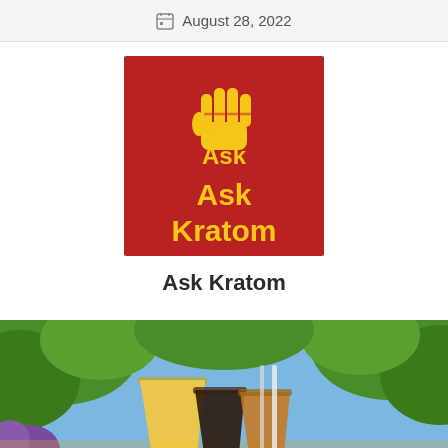August 28, 2022
[Figure (logo): Ask Kratom logo: red square background with a yellow raised fist icon above the text 'Ask Kratom' in yellow bold letters]
Ask Kratom
[Figure (photo): Outdoor photo of multiple glasses of colorful juices (orange, dark, amber) with blurred green foliage and blue sky in background]